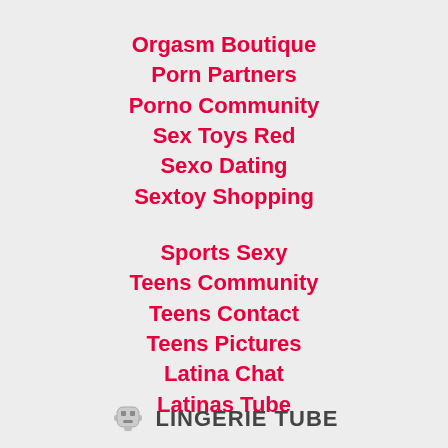Orgasm Boutique
Porn Partners
Porno Community
Sex Toys Red
Sexo Dating
Sextoy Shopping
Sports Sexy
Teens Community
Teens Contact
Teens Pictures
Latina Chat
Latinas Tube
LINGERIE TUBE